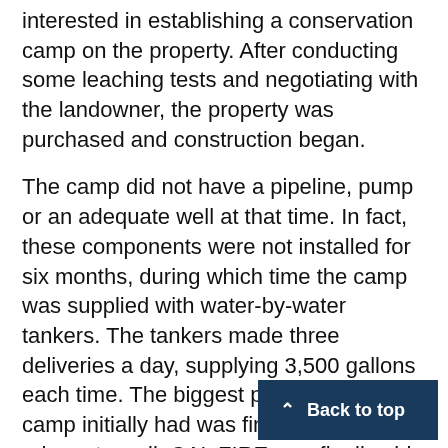interested in establishing a conservation camp on the property. After conducting some leaching tests and negotiating with the landowner, the property was purchased and construction began.
The camp did not have a pipeline, pump or an adequate well at that time. In fact, these components were not installed for six months, during which time the camp was supplied with water-by-water tankers. The tankers made three deliveries a day, supplying 3,500 gallons each time. The biggest problem the camp initially had was finding an adequate well. CAL FIRE was finally able to purchase an existing well on a small plot of land. The well provided the water the camp needed, but it also required over 2.5 miles of pipeline from the well to the water tanks. In June 1962, the camp was on line with water and operation.